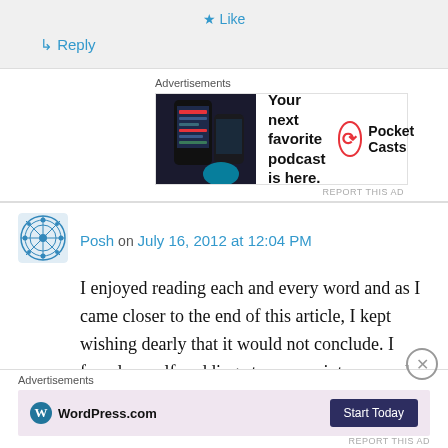★ Like
↳ Reply
Advertisements
[Figure (screenshot): Pocket Casts podcast app advertisement showing a phone with the app and text: 'Your next favorite podcast is here.' with Pocket Casts logo]
REPORT THIS AD
Posh on July 16, 2012 at 12:04 PM
I enjoyed reading each and every word and as I came closer to the end of this article, I kept wishing dearly that it would not conclude. I found myself nodding at every point you made and agreeing, very sadly, that our country has
Advertisements
[Figure (screenshot): WordPress.com advertisement with pink background showing WordPress logo and 'Start Today' button]